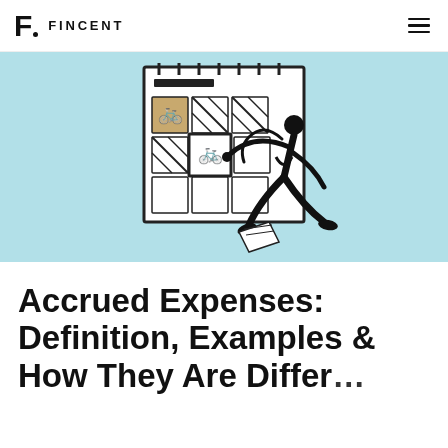FINCENT
[Figure (illustration): Illustration of a person reaching up to touch a calendar grid on a light blue background. The calendar has various icons in its cells and the person is depicted in a stylized black and white graphic style.]
Accrued Expenses: Definition, Examples & How They Are Different